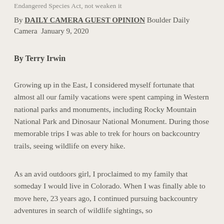Endangered Species Act, not weaken it
By DAILY CAMERA GUEST OPINION Boulder Daily Camera  January 9, 2020
By Terry Irwin
Growing up in the East, I considered myself fortunate that almost all our family vacations were spent camping in Western national parks and monuments, including Rocky Mountain National Park and Dinosaur National Monument. During those memorable trips I was able to trek for hours on backcountry trails, seeing wildlife on every hike.
As an avid outdoors girl, I proclaimed to my family that someday I would live in Colorado. When I was finally able to move here, 23 years ago, I continued pursuing backcountry adventures in search of wildlife sightings, so